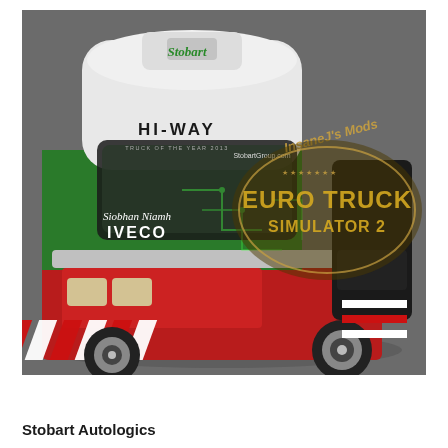[Figure (photo): A Euro Truck Simulator 2 screenshot showing an Iveco Hi-Way truck cab in Stobart Autologics livery. The truck is white on top with green and red lower sections, featuring red and white chevron hazard stripes at the bottom. Text on the truck reads 'HI-WAY', 'Stobart', 'StobartGroup.com', 'Siobhan Niamh', 'IVECO', and 'TRUCK OF THE YEAR 2013'. An overlay watermark reads 'InsaneJ's Mods' and 'EURO TRUCK SIMULATOR 2' in gold metallic lettering.]
Stobart Autologics